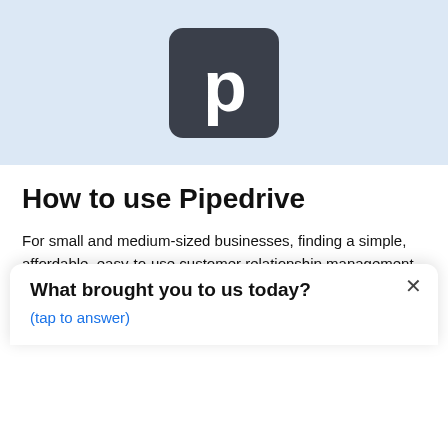[Figure (logo): Pipedrive logo: dark charcoal square with rounded corners containing a white bold lowercase 'p' letter]
How to use Pipedrive
For small and medium-sized businesses, finding a simple, affordable, easy-to-use customer relationship management (CRM) system can be a challenge. This is precisely the market need that Pipedrive CRM seeks to fill. Pipedrive CRM's name gives a hint into the core
What brought you to us today?
(tap to answer)